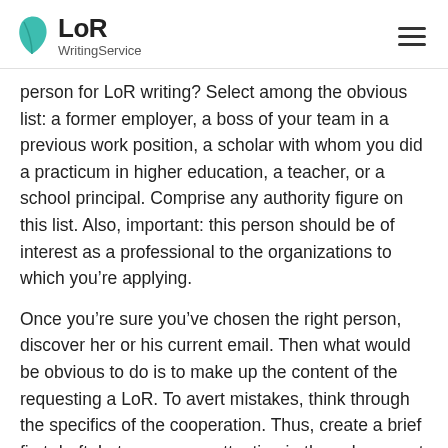LoR WritingService
person for LoR writing? Select among the obvious list: a former employer, a boss of your team in a previous work position, a scholar with whom you did a practicum in higher education, a teacher, or a school principal. Comprise any authority figure on this list. Also, important: this person should be of interest as a professional to the organizations to which you’re applying.
Once you’re sure you’ve chosen the right person, discover her or his current email. Then what would be obvious to do is to make up the content of the requesting a LoR. To avert mistakes, think through the specifics of the cooperation. Thus, create a brief first draft. Lets pay more attention in the subsequent paragraph.